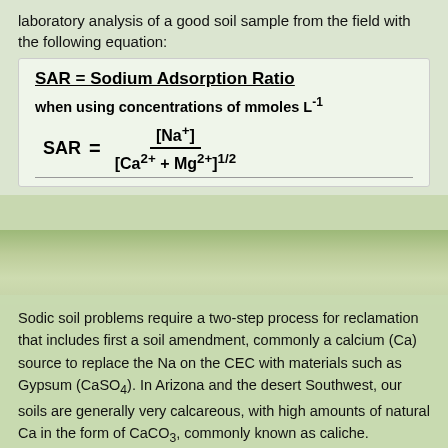laboratory analysis of a good soil sample from the field with the following equation:
SAR = Sodium Adsorption Ratio
when using concentrations of mmoles L⁻¹
Sodic soil problems require a two-step process for reclamation that includes first a soil amendment, commonly a calcium (Ca) source to replace the Na on the CEC with materials such as Gypsum (CaSO₄). In Arizona and the desert Southwest, our soils are generally very calcareous, with high amounts of natural Ca in the form of CaCO₃, commonly known as caliche.  Agricultural acid is often used to liberate free Ca in the soil from the caliche.